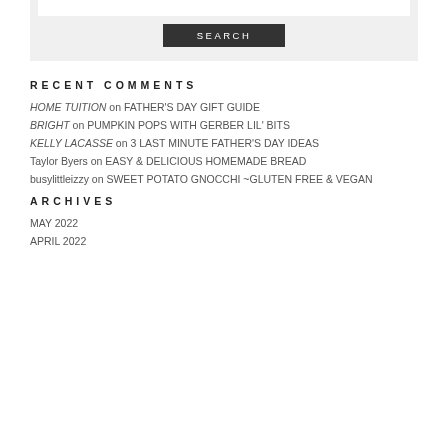[Figure (other): Search input box with grey background and white input field]
SEARCH
RECENT COMMENTS
HOME TUITION on FATHER'S DAY GIFT GUIDE
BRIGHT on PUMPKIN POPS WITH GERBER LIL' BITS
KELLY LACASSE on 3 LAST MINUTE FATHER'S DAY IDEAS
Taylor Byers on EASY & DELICIOUS HOMEMADE BREAD
busylittleizzy on SWEET POTATO GNOCCHI ~GLUTEN FREE & VEGAN
ARCHIVES
MAY 2022
APRIL 2022